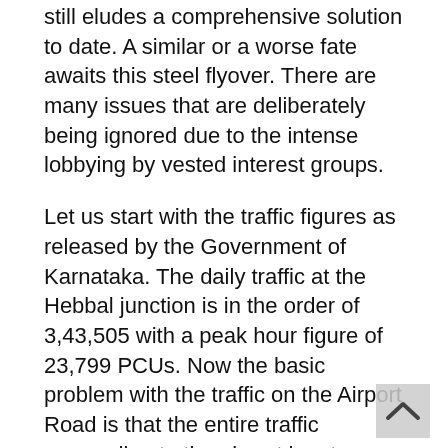still eludes a comprehensive solution to date. A similar or a worse fate awaits this steel flyover. There are many issues that are deliberately being ignored due to the intense lobbying by vested interest groups.
Let us start with the traffic figures as released by the Government of Karnataka. The daily traffic at the Hebbal junction is in the order of 3,43,505 with a peak hour figure of 23,799 PCUs. Now the basic problem with the traffic on the Airport Road is that the entire traffic proceeding to the airport has to pass through Hebbal flyover the design of which has created a bottleneck both at the entry and exit of the flyover.
Extra lane added proves insufficient
We still remember that just a few years back one more lane had to be added to the existing flyover to ease congestion traffic blockage. With in a short span of time...